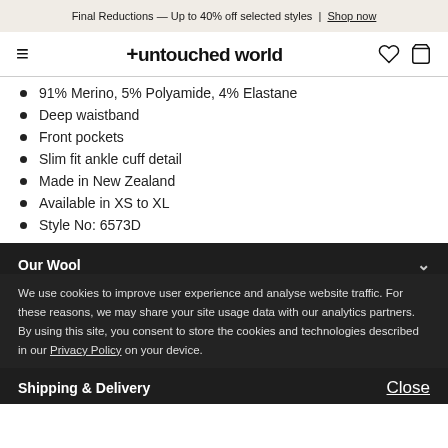Final Reductions — Up to 40% off selected styles | Shop now
[Figure (logo): Untouched World logo with navigation icons]
91% Merino, 5% Polyamide, 4% Elastane
Deep waistband
Front pockets
Slim fit ankle cuff detail
Made in New Zealand
Available in XS to XL
Style No: 6573D
Our Wool
We use cookies to improve user experience and analyse website traffic. For these reasons, we may share your site usage data with our analytics partners. By using this site, you consent to store the cookies and technologies described in our Privacy Policy on your device.
Shipping & Delivery
Close